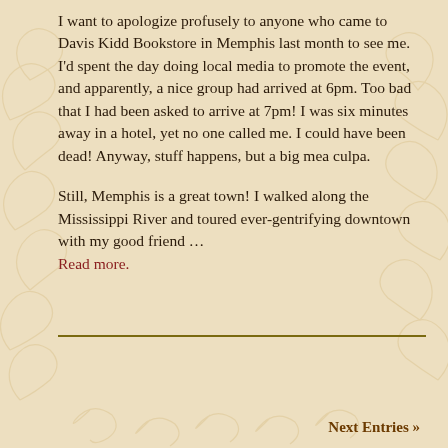I want to apologize profusely to anyone who came to Davis Kidd Bookstore in Memphis last month to see me. I'd spent the day doing local media to promote the event, and apparently, a nice group had arrived at 6pm. Too bad that I had been asked to arrive at 7pm! I was six minutes away in a hotel, yet no one called me. I could have been dead! Anyway, stuff happens, but a big mea culpa.
Still, Memphis is a great town! I walked along the Mississippi River and toured ever-gentrifying downtown with my good friend … Read more.
Next Entries »